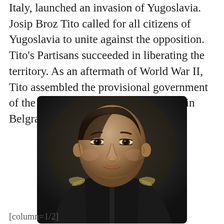Italy, launched an invasion of Yugoslavia. Josip Broz Tito called for all citizens of Yugoslavia to unite against the opposition. Tito's Partisans succeeded in liberating the territory. As an aftermath of World War II, Tito assembled the provisional government of the Democratic Federal Yugoslavia in Belgrade.[/column]
[Figure (photo): Black and white portrait photograph of Josip Broz Tito in military uniform with epaulettes, looking slightly to the right, dark background.]
[column=1/2]